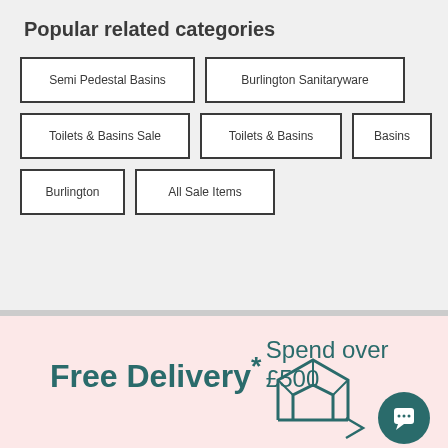Popular related categories
Semi Pedestal Basins
Burlington Sanitaryware
Toilets & Basins Sale
Toilets & Basins
Basins
Burlington
All Sale Items
Free Delivery*
Spend over £500